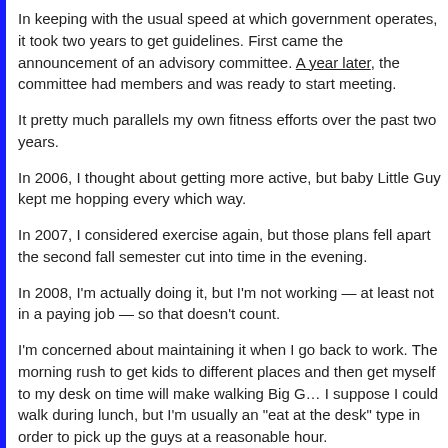In keeping with the usual speed at which government operates, it took two years to get guidelines. First came the announcement of an advisory committee. A year later, the committee had members and was ready to start meeting.
It pretty much parallels my own fitness efforts over the past two years.
In 2006, I thought about getting more active, but baby Little Guy kept me hopping every which way.
In 2007, I considered exercise again, but those plans fell apart the second fall semester cut into time in the evening.
In 2008, I'm actually doing it, but I'm not working — at least not in a paying job — so that doesn't count.
I'm concerned about maintaining it when I go back to work. The morning rush to get kids to different places and then get myself to my desk on time will make walking Big Guy difficult. I suppose I could walk during lunch, but I'm usually an "eat at the desk" type in order to pick up the guys at a reasonable hour.
That all will work itself out, though, when the time comes. For now, I'm happy to have something that doesn't make me feel like a loser.